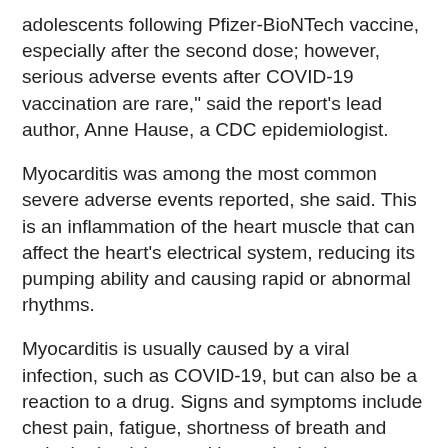adolescents following Pfizer-BioNTech vaccine, especially after the second dose; however, serious adverse events after COVID-19 vaccination are rare," said the report's lead author, Anne Hause, a CDC epidemiologist.
Myocarditis was among the most common severe adverse events reported, she said. This is an inflammation of the heart muscle that can affect the heart's electrical system, reducing its pumping ability and causing rapid or abnormal rhythms.
Myocarditis is usually caused by a viral infection, such as COVID-19, but can also be a reaction to a drug. Signs and symptoms include chest pain, fatigue, shortness of breath and arrhythmias (abnormal heart rhythm).
While this association may sound alarming, CDC experts continue to stress the benefits of vaccination for all people aged 12 and older. The vaccine has not yet been approved for younger kids.